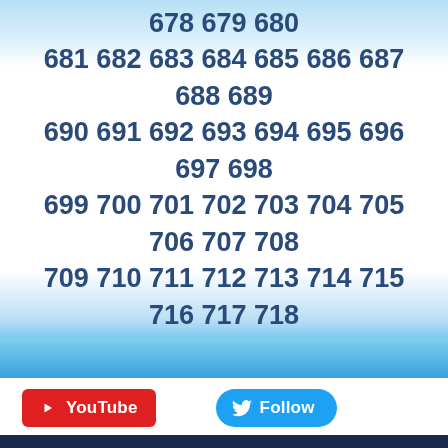635 636 637 638 639 640 641 642 643 644 645 646 647 648 649 650 651 652 653 654 655 656 657 658 659 660 661 662 663 664 665 666 667 668 669 670 671 672 673 674 675 676 677 678 679 680 681 682 683 684 685 686 687 688 689 690 691 692 693 694 695 696 697 698 699 700 701 702 703 704 705 706 707 708 709 710 711 712 713 714 715 716 717 718 719 720 721 722 723 724 725 726 727 728 729 730 731 732 733 734 735 736 737 738 739 740 741 742 743 744 745 746 747 748 749 750 751 752 753 754 755 756 757 758 759 ...
[Figure (screenshot): YouTube subscribe button (red) and Twitter Follow button (blue) in a white bar]
[Figure (photo): Silhouettes of dancers on a blue background, Michael Jackson album art]